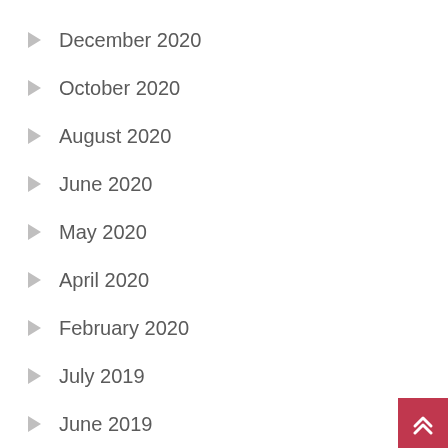December 2020
October 2020
August 2020
June 2020
May 2020
April 2020
February 2020
July 2019
June 2019